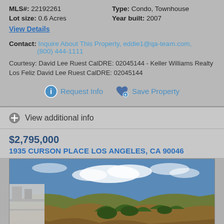MLS#: 22192261   Type: Condo, Townhouse
Lot size: 0.6 Acres   Year built: 2007
View Details
Contact: Inquire About This Property, eddie1@qa-team.com, (800) 444-1111
Courtesy: David Lee Ruest CalDRE: 02045144 - Keller Williams Realty Los Feliz David Lee Ruest CalDRE: 02045144
Request Info   Save Property
View additional info
$2,795,000
1935 CURSON PLACE LOS ANGELES, CA 90046
[Figure (photo): Exterior photo of property showing hillside landscape with brown hills, green trees, blue sky with clouds, and part of a modern building structure on the left.]